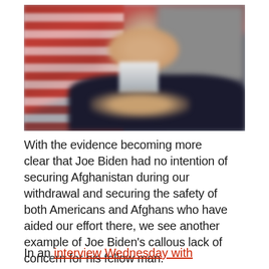[Figure (photo): Blurred photo of an older man in a dark suit with an American flag in the background, appearing to gesture with his hands]
With the evidence becoming more clear that Joe Biden had no intention of securing Afghanistan during our withdrawal and securing the safety of both Americans and Afghans who have aided our effort there, we see another example of Joe Biden's callous lack of concern for his fellow man.
In an interview Wednesday with